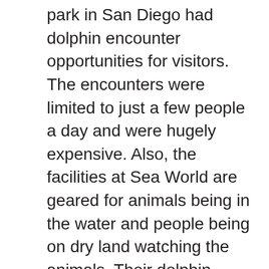park in San Diego had dolphin encounter opportunities for visitors.  The encounters were limited to just a few people a day and were hugely expensive. Also, the facilities at Sea World are geared for animals being in the water and people being on dry land watching the animals. Their dolphin encounter seemed kind of awkward.  It was sort of like the people swimming with the dolphins were on display as part of the exhibit.  While 8 or 10 people donned wetsuits and waded into a small pool with a dolphin, other fully dressed park visitors stood by the side of the pool to watch.  It just seemed a bit weird to me.  Still, I was one of those passersby watching.  In a way, despite the awkwardness and the logistical issues (like what did you do once the 20-minute dolphin experience was over and you were standing